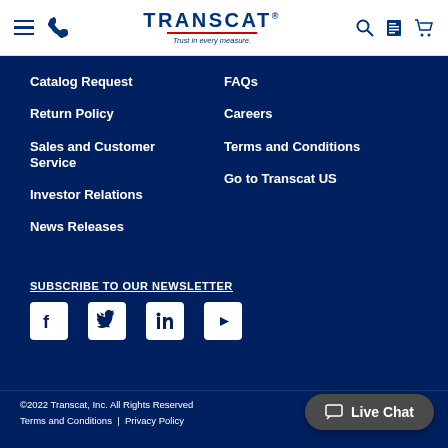Transcat - Trust in every measure
Catalog Request
Return Policy
Sales and Customer Service
Investor Relations
News Releases
FAQs
Careers
Terms and Conditions
Go to Transcat US
SUBSCRIBE TO OUR NEWSLETTER
[Figure (logo): Social media icons: Facebook, Twitter, LinkedIn, YouTube]
©2022 Transcat, Inc. All Rights Reserved | Terms and Conditions | Privacy Policy